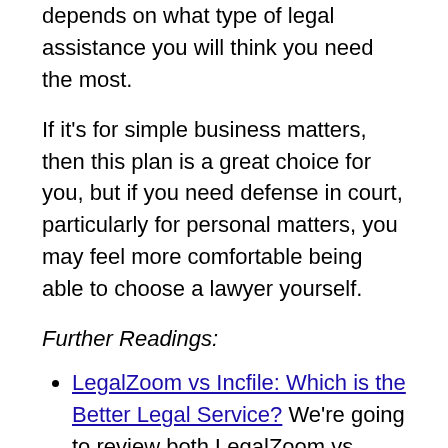depends on what type of legal assistance you will think you need the most.
If it's for simple business matters, then this plan is a great choice for you, but if you need defense in court, particularly for personal matters, you may feel more comfortable being able to choose a lawyer yourself.
Further Readings:
LegalZoom vs Incfile: Which is the Better Legal Service? We're going to review both LegalZoom vs Incfile – both of which provide online legal advice but focus on different areas. Choose the best for you here!
9 Best LegalZoom Alternatives: LegalZoom